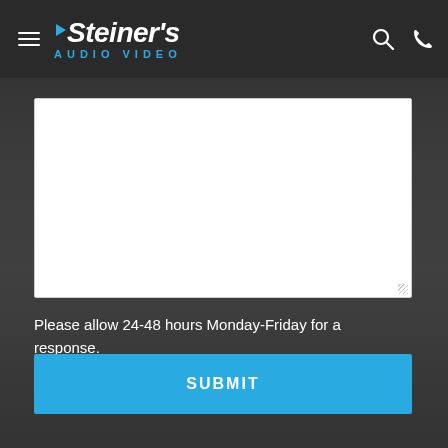Steiner's Audio Video
[Figure (other): Empty white textarea form field for user input]
Please allow 24-48 hours Monday-Friday for a response.
SUBMIT